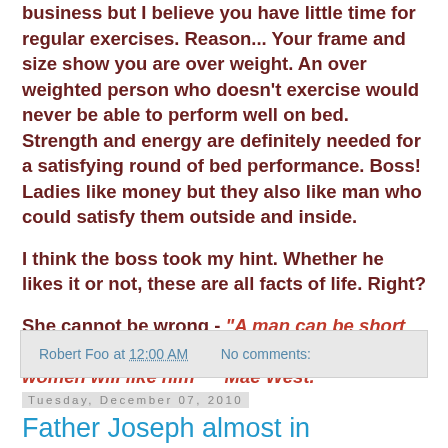business but I believe you have little time for regular exercises. Reason... Your frame and size show you are over weight. An over weighted person who doesn't exercise would never be able to perform well on bed. Strength and energy are definitely needed for a satisfying round of bed performance. Boss! Ladies like money but they also like man who could satisfy them outside and inside.
I think the boss took my hint. Whether he likes it or not, these are all facts of life. Right?
She cannot be wrong - "A man can be short and dumpy and getting bald but if he has fire, women will like him" ~ Mae West.
Robert Foo at 12:00 AM   No comments:
Tuesday, December 07, 2010
Father Joseph almost in trouble....